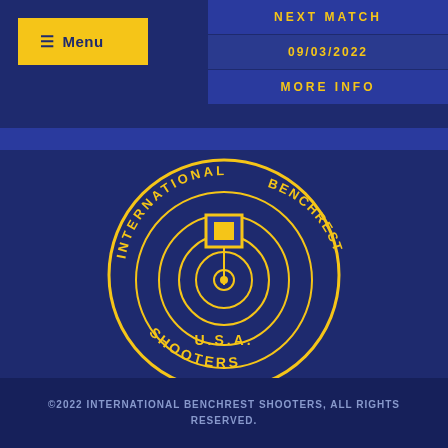≡ Menu
NEXT MATCH
09/03/2022
MORE INFO
[Figure (logo): International Benchrest Shooters U.S.A. circular logo with target/scope crosshair design in gold on blue]
©2022 INTERNATIONAL BENCHREST SHOOTERS, ALL RIGHTS RESERVED.